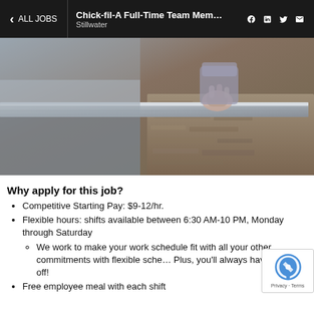ALL JOBS | Chick-fil-A Full-Time Team Mem… Stillwater | f in Twitter Mail
[Figure (photo): Photo of a person's hand reaching over a metal counter or ledge at a Chick-fil-A restaurant, with a stone wall visible in the background.]
Why apply for this job?
Competitive Starting Pay: $9-12/hr.
Flexible hours: shifts available between 6:30 AM-10 PM, Monday through Saturday
We work to make your work schedule fit with all your other commitments with flexible sche… Plus, you'll always have Sundays off!
Free employee meal with each shift